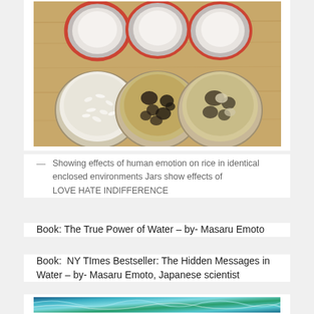[Figure (photo): Three glass mason jars viewed from above on a wooden surface, each with a white lid with red/orange seal ring. The jars contain rice: left jar has white/milky rice (LOVE), middle jar has dark spotted/moldy rice (HATE), right jar has partially darkened rice (INDIFFERENCE). Lids are shown above the jars.]
— Showing effects of human emotion on rice in identical enclosed environments Jars show effects of LOVE HATE INDIFFERENCE
Book: The True Power of Water – by- Masaru Emoto
Book:  NY TImes Bestseller: The Hidden Messages in Water – by- Masaru Emoto, Japanese scientist
[Figure (photo): Bottom portion of a photo showing blue, green and teal colored abstract wave or water crystal patterns.]